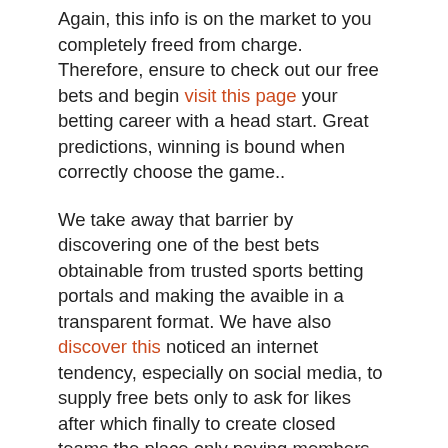Again, this info is on the market to you completely freed from charge. Therefore, ensure to check out our free bets and begin visit this page your betting career with a head start. Great predictions, winning is bound when correctly choose the game..
We take away that barrier by discovering one of the best bets obtainable from trusted sports betting portals and making the avaible in a transparent format. We have also discover this noticed an internet tendency, especially on social media, to supply free bets only to ask for likes after which finally to create closed teams the place only paying members can entry. There are many wonderful football tipster websites to select from, however solely the football punters themselves can resolve that.
A soccer match from the Turkish championship, the